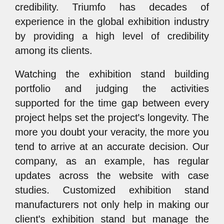credibility. Triumfo has decades of experience in the global exhibition industry by providing a high level of credibility among its clients.
Watching the exhibition stand building portfolio and judging the activities supported for the time gap between every project helps set the project's longevity. The more you doubt your veracity, the more you tend to arrive at an accurate decision. Our company, as an example, has regular updates across the website with case studies. Customized exhibition stand manufacturers not only help in making our client's exhibition stand but manage the features fairly thriving.
Customized Designs. Triumfo's most easily...